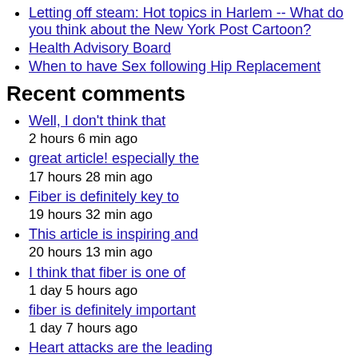Letting off steam: Hot topics in Harlem -- What do you think about the New York Post Cartoon?
Health Advisory Board
When to have Sex following Hip Replacement
Recent comments
Well, I don't think that
2 hours 6 min ago
great article! especially the
17 hours 28 min ago
Fiber is definitely key to
19 hours 32 min ago
This article is inspiring and
20 hours 13 min ago
I think that fiber is one of
1 day 5 hours ago
fiber is definitely important
1 day 7 hours ago
Heart attacks are the leading
1 day 11 hours ago
A healthy mind lives in a
1 day 12 hours ago
He works in the office of the
1 day 13 hours ago